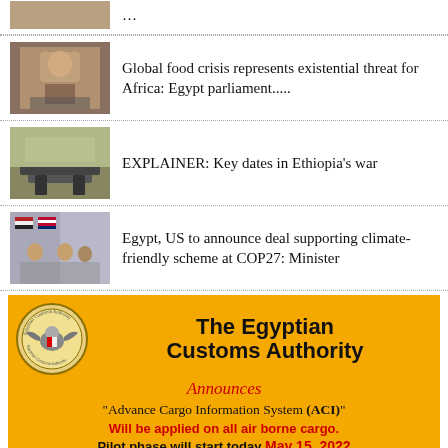[Figure (photo): Partial news thumbnail at top of page, partially cropped]
...
[Figure (photo): Man speaking at a podium in a formal setting]
Global food crisis represents existential threat for Africa: Egypt parliament.....
[Figure (photo): Military tank in a desert or conflict area]
EXPLAINER: Key dates in Ethiopia's war
[Figure (photo): Meeting of officials with Egyptian and US flags]
Egypt, US to announce deal supporting climate-friendly scheme at COP27: Minister
[Figure (infographic): Egyptian Customs Authority advertisement announcing Advance Cargo Information System (ACI). Will be applied on all air borne cargo. Pilot phase will start today May 15, 2022.]